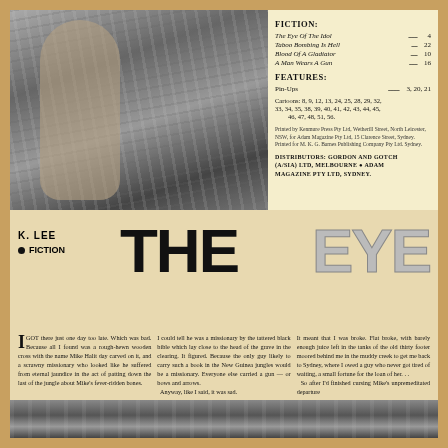[Figure (photo): Black and white photograph of hands, top portion of magazine page]
| FICTION: | page |
| --- | --- |
| The Eye Of The Idol | 4 |
| Taboo Bombing Is Hell | 22 |
| Blood Of A Gladiator | 10 |
| A Man Wears A Gun | 16 |
| FEATURES: | pages |
| --- | --- |
| Pin-Ups | 3, 20, 21 |
| Cartoons: | 8, 9, 12, 13, 24, 25, 28, 29, 32, 33, 34, 35, 38, 39, 40, 41, 42, 43, 44, 45, 46, 47, 48, 51, 56 |
Printed by Kenmure Press Pty Ltd, Wetherill Street, North Leicester, NSW, for Adam Magazine Pty Ltd, 15 Clarence Street, Sydney. Printed for M. K. G. Barnes Publishing Company Pty Ltd. Sydney.
DISTRIBUTORS: GORDON AND GOTCH (A/SIA) LTD, MELBOURNE ● ADAM MAGAZINE PTY LTD, SYDNEY.
K. LEE
● FICTION
THE EYE
I GOT there just one day too late. Which was bad. Because all I found was a rough-hewn wooden cross with the name Mike Halit day carved on it, and a scrawny missionary who looked like he suffered from eternal jaundice in the act of patting down the last of the jungle about Mike's fever-ridden bones.
I could tell he was a missionary by the tattered black bible which lay close to the head of the grave in the clearing. It figured. Because the only guy likely to carry such a book in the New Guinea jungles would be a missionary. Everyone else carried a gun — or bows and arrows.
  Anyway, like I said, it was sad.
It meant that I was broke. Flat broke, with barely enough juice left in the tanks of the old thirty footer moored behind me in the muddy creek to get me back to Sydney, where I owed a guy who never got tired of waiting, a small fortune for the loan of her. . .
  So after I'd finished cursing Mike's unpremeditated departure
[Figure (photo): Black and white photograph strip at bottom of page]